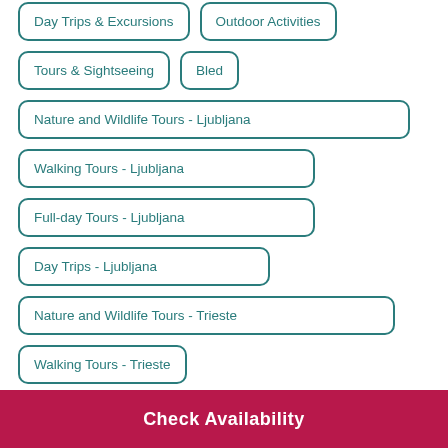Day Trips & Excursions
Outdoor Activities
Tours & Sightseeing
Bled
Nature and Wildlife Tours - Ljubljana
Walking Tours - Ljubljana
Full-day Tours - Ljubljana
Day Trips - Ljubljana
Nature and Wildlife Tours - Trieste
Walking Tours - Trieste
Check Availability